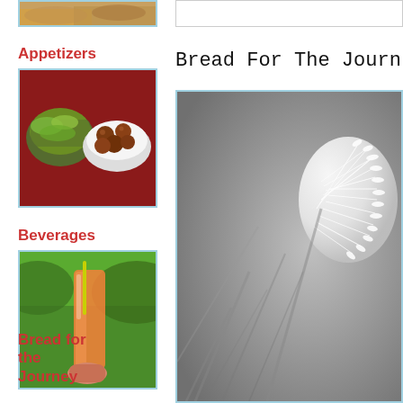[Figure (photo): Partially visible food photo at top of sidebar, appears to be bread or pastry]
Appetizers
[Figure (photo): Photo of appetizers including what appears to be meatballs and salad in bowls on a red surface]
Beverages
[Figure (photo): Photo of an orange drink in a tall glass with a straw, green lawn background]
Bread for the Journey
Bread For The Journ
[Figure (photo): Close-up macro photo of a dandelion seed head, blurred grey background with white fluffy seeds visible]